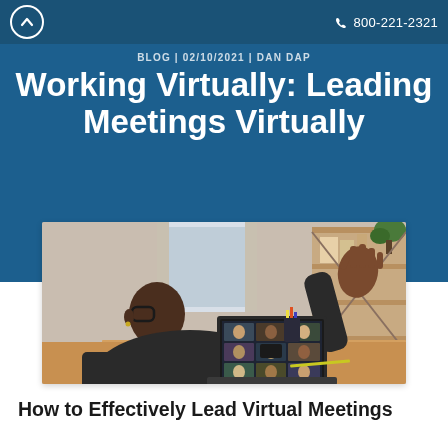800-221-2321
BLOG | 02/10/2021 | DAN DIP
Working Virtually: Leading Meetings Virtually
[Figure (photo): Man with glasses seen from behind, wearing dark sweater, raising his right hand while participating in a virtual video meeting on a laptop. Multiple participants visible in a grid on the laptop screen. Home office setting with shelving unit in background.]
How to Effectively Lead Virtual Meetings